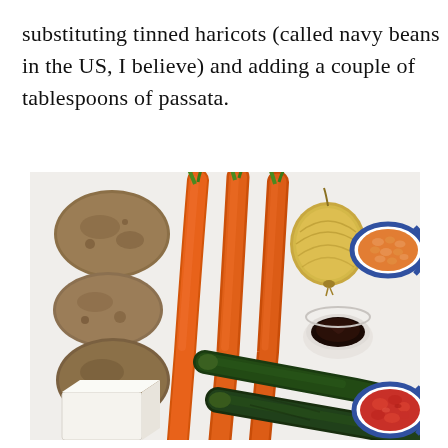substituting tinned haricots (called navy beans in the US, I believe) and adding a couple of tablespoons of passata.
[Figure (photo): Overhead flat-lay photo on a white surface showing cooking ingredients: three brown potatoes on the left, three orange carrots in the center, a yellow onion, a small white bowl with dark sauce/paste, a blue-rimmed bowl of baked beans in tomato sauce (top right), a block of white butter/tofu (bottom left), two dark green courgettes/zucchini, and a blue-rimmed bowl of crushed tomatoes/passata (bottom right).]